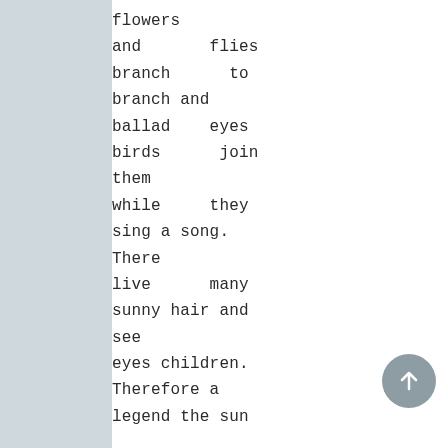flowers
and       flies
branch      to
branch and
ballad    eyes
birds      join
them
while     they
sing a song.
There
live      many
sunny hair and
see
eyes children.
Therefore a
legend the sun